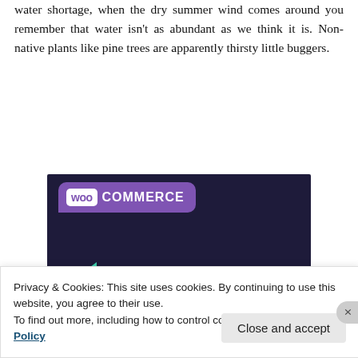water shortage, when the dry summer wind comes around you remember that water isn't as abundant as we think it is. Non-native plants like pine trees are apparently thirsty little buggers.
[Figure (illustration): WooCommerce advertisement banner with dark navy background, purple speech bubble logo, green triangle and cyan circle decorative shapes, and white bold text reading 'Turn your hobby into a business in 8 steps']
Privacy & Cookies: This site uses cookies. By continuing to use this website, you agree to their use.
To find out more, including how to control cookies, see here: Cookie Policy